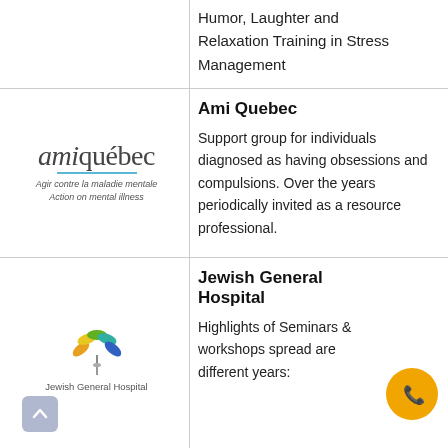Humor, Laughter and Relaxation Training in Stress Management
[Figure (logo): Ami Québec logo — 'amiquébec' in serif font with teal underline, tagline 'Agir contre la maladie mentale / Action on mental illness']
Ami Quebec
Support group for individuals diagnosed as having obsessions and compulsions. Over the years periodically invited as a resource professional.
[Figure (logo): Jewish General Hospital logo — colorful leaf/flower icon with text 'Jewish General Hospital']
Jewish General Hospital
Highlights of Seminars workshops spread are different years: